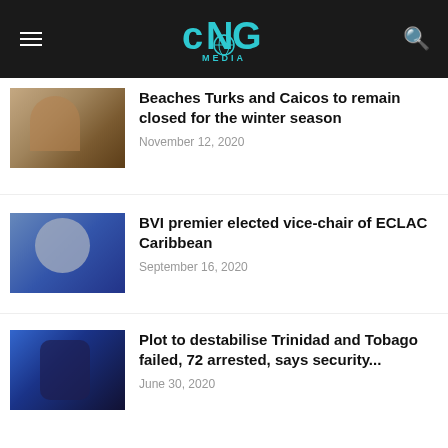CNG Media
Beaches Turks and Caicos to remain closed for the winter season — November 12, 2020
BVI premier elected vice-chair of ECLAC Caribbean — September 16, 2020
Plot to destabilise Trinidad and Tobago failed, 72 arrested, says security... — June 30, 2020
Government of Dominica to construct 600 homes — September 16, 2020